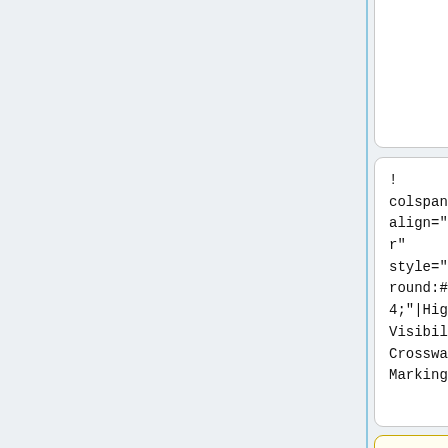r"
 style="background:#7FFFD4;"|Condition
r"
 style="background:#7FFFD4;"|Condition
! colspan="1" align="center" style="background:#7FFFD4;"|High Visibility Crosswalk Markings
! colspan="1" align="center" style="background:#7FFFD4;"|High Visibility Crosswalk Markings
! colspan="1" align="center" style="backg
! colspan="1" align="center" style="backg